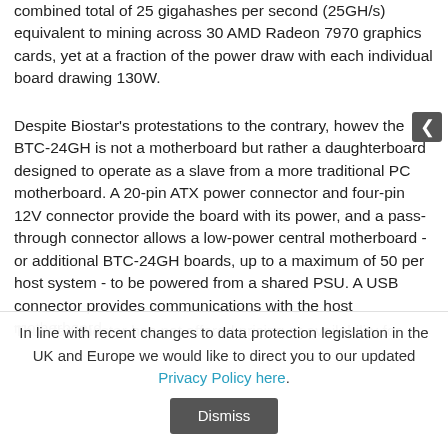combined total of 25 gigahashes per second (25GH/s) equivalent to mining across 30 AMD Radeon 7970 graphics cards, yet at a fraction of the power draw with each individual board drawing 130W.
Despite Biostar's protestations to the contrary, however, the BTC-24GH is not a motherboard but rather a daughterboard designed to operate as a slave from a more traditional PC motherboard. A 20-pin ATX power connector and four-pin 12V connector provide the board with its power, and a pass-through connector allows a low-power central motherboard - or additional BTC-24GH boards, up to a maximum of 50 per host system - to be powered from a shared PSU. A USB connector provides communications with the host motherboard.
Thus far, Biostar has not offered pricing or availability for
In line with recent changes to data protection legislation in the UK and Europe we would like to direct you to our updated Privacy Policy here.
Dismiss